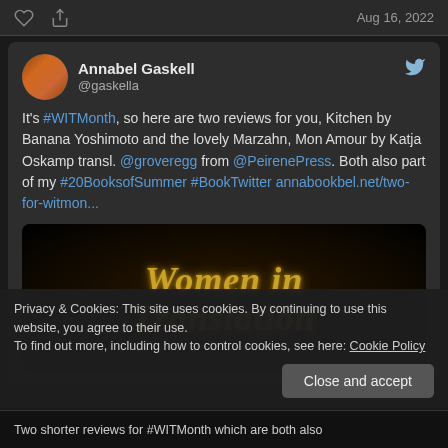Aug 16, 2022
Annabel Gaskell @gaskella
It's #WITMonth, so here are two reviews for you, Kitchen by Banana Yoshimoto and the lovely Marzahn, Mon Amour by Katja Oskamp transl. @groveregg from @PeirenePress. Both also part of my #20BooksofSummer #BookTwitter annabookbel.net/two-for-witmon...
[Figure (photo): Women in Translation month promotional image with gold script text on dark background]
Privacy & Cookies: This site uses cookies. By continuing to use this website, you agree to their use.
To find out more, including how to control cookies, see here: Cookie Policy
Two shorter reviews for #WITMonth which are both also